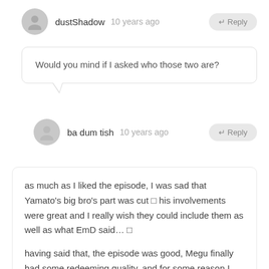dustShadow  10 years ago  ← Reply
Would you mind if I asked who those two are?
ba dum tish  10 years ago  ← Reply
as much as I liked the episode, I was sad that Yamato's big bro's part was cut □ his involvements were great and I really wish they could include them as well as what EmD said… □

having said that, the episode was good, Megu finally had some redeeming quality, and for some reason I would love Megu to end up with Kai xD

thanks for the coverage as always, stereoman! the epilogue tricked me for a sec.. but glad there will be more of this show